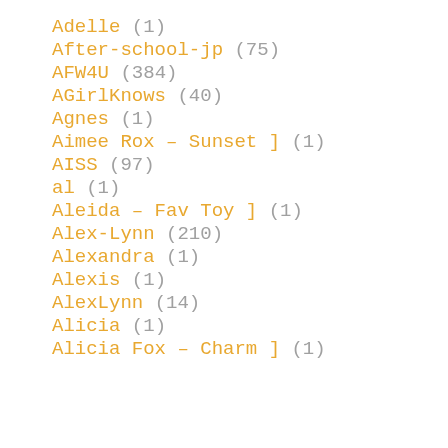Adelle (1)
After-school-jp (75)
AFW4U (384)
AGirlKnows (40)
Agnes (1)
Aimee Rox – Sunset ] (1)
AISS (97)
al (1)
Aleida – Fav Toy ] (1)
Alex-Lynn (210)
Alexandra (1)
Alexis (1)
AlexLynn (14)
Alicia (1)
Alicia Fox – Charm ] (1)